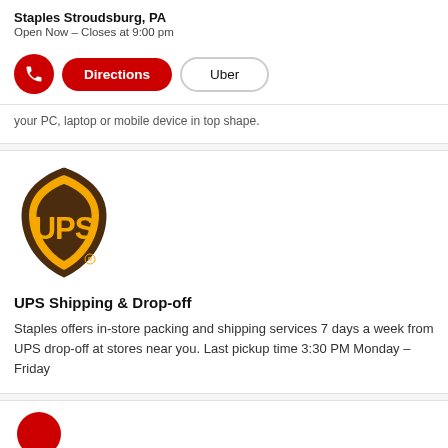Staples Stroudsburg, PA
Open Now – Closes at 9:00 pm
Directions | Uber
your PC, laptop or mobile device in top shape.
[Figure (logo): UPS shield logo in brown and yellow with registered trademark symbol]
UPS Shipping & Drop-off
Staples offers in-store packing and shipping services 7 days a week from UPS drop-off at stores near you. Last pickup time 3:30 PM Monday – Friday